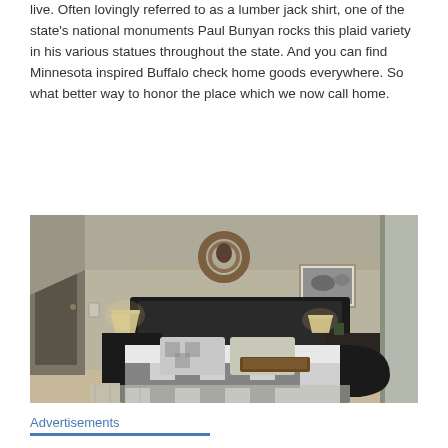live. Often lovingly referred to as a lumber jack shirt, one of the state's national monuments Paul Bunyan rocks this plaid variety in his various statues throughout the state. And you can find Minnesota inspired Buffalo check home goods everywhere. So what better way to honor the place which we now call home.
[Figure (photo): Interior bedroom photo showing a dark leather sleigh bed with buffalo check plaid bedding in grey and white, two bedside lamps, a wicker wreath with decorative animal head above the bed, a framed black and white photo on the wall, and sheer curtains on the right side.]
Advertisements